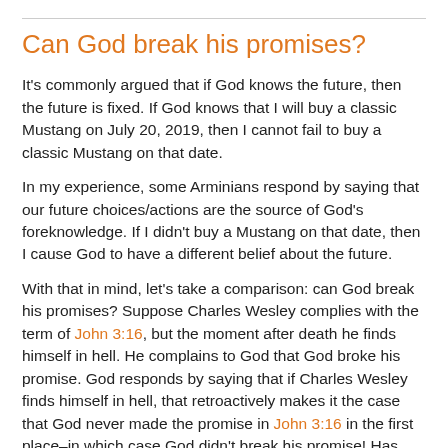Can God break his promises?
It's commonly argued that if God knows the future, then the future is fixed. If God knows that I will buy a classic Mustang on July 20, 2019, then I cannot fail to buy a classic Mustang on that date.
In my experience, some Arminians respond by saying that our future choices/actions are the source of God's foreknowledge. If I didn't buy a Mustang on that date, then I cause God to have a different belief about the future.
With that in mind, let's take a comparison: can God break his promises? Suppose Charles Wesley complies with the term of John 3:16, but the moment after death he finds himself in hell. He complains to God that God broke his promise. God responds by saying that if Charles Wesley finds himself in hell, that retroactively makes it the case that God never made the promise in John 3:16 in the first place–in which case God didn't break his promise! Has something gone wrong here?